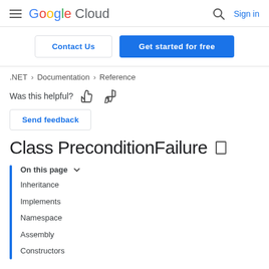Google Cloud  Sign in
Contact Us  Get started for free
.NET > Documentation > Reference
Was this helpful?
Send feedback
Class PreconditionFailure
On this page
Inheritance
Implements
Namespace
Assembly
Constructors